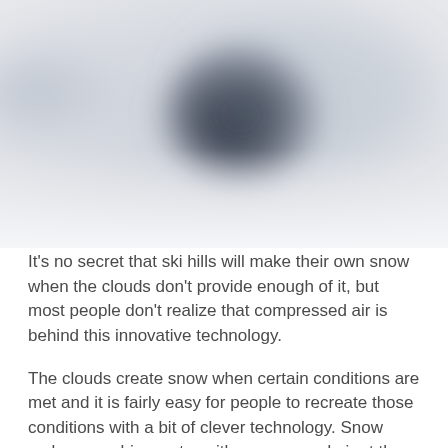[Figure (photo): A blurred photograph showing a dark circular shape (likely a snowmaking gun or nozzle) against a light grey misty background, suggesting fog or snow conditions on a ski hill.]
It's no secret that ski hills will make their own snow when the clouds don't provide enough of it, but most people don't realize that compressed air is behind this innovative technology.
The clouds create snow when certain conditions are met and it is fairly easy for people to recreate those conditions with a bit of clever technology. Snow makers combine water with compressed air at the